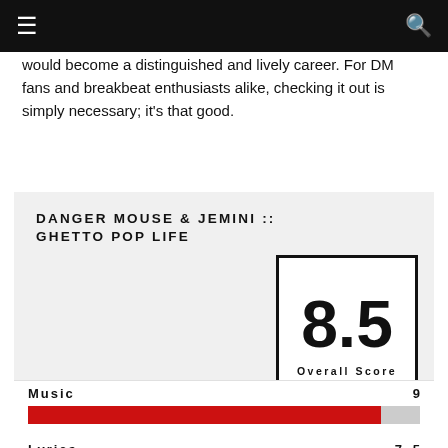☰ [hamburger menu] | [search icon]
would become a distinguished and lively career. For DM fans and breakbeat enthusiasts alike, checking it out is simply necessary; it's that good.
DANGER MOUSE & JEMINI :: GHETTO POP LIFE
[Figure (infographic): Score box showing 8.5 Overall Score]
[Figure (bar-chart): Music / Lyrics ratings]